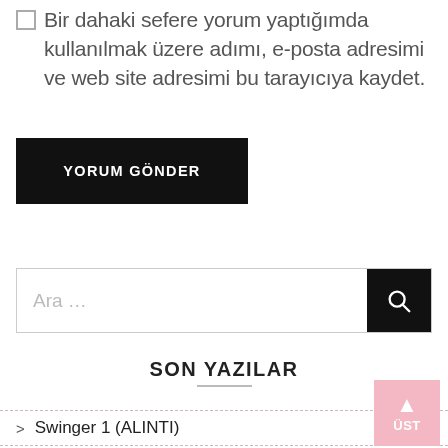Bir dahaki sefere yorum yaptığımda kullanılmak üzere adımı, e-posta adresimi ve web site adresimi bu tarayıcıya kaydet.
YORUM GÖNDER
Ara ...
SON YAZILAR
Swinger 1 (ALINTI)